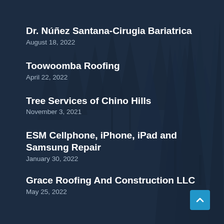Dr. Núñez Santana-Cirugia Bariatrica
August 18, 2022
Toowoomba Roofing
April 22, 2022
Tree Services of Chino Hills
November 3, 2021
ESM Cellphone, iPhone, iPad and Samsung Repair
January 30, 2022
Grace Roofing And Construction LLC
May 25, 2022